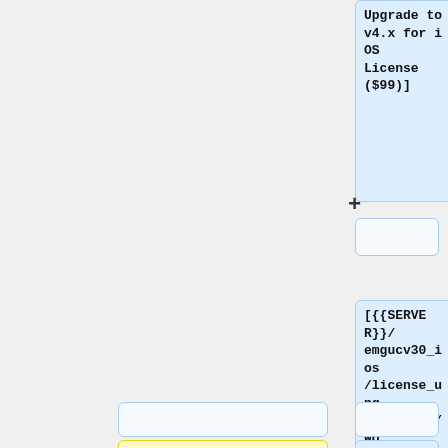Upgrade to v4.x for iOS License ($99)]
+
[{{SERVER}}/emgucv30_ios/license_upgrade_to_4/WorkgroupUpgrade_4_iOS.php Workgroup (up to 25 developers) Upgrade to v4.x for iOS License ($199)]
+